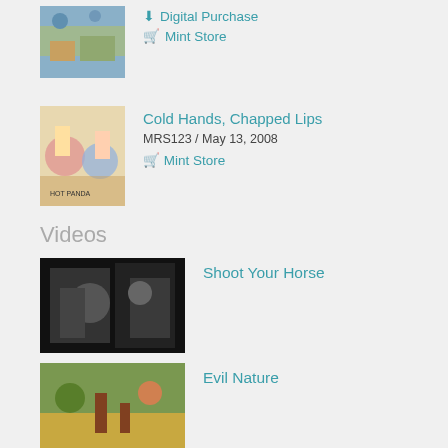[Figure (photo): Album artwork thumbnail - map/world illustration]
Digital Purchase
Mint Store
[Figure (photo): Album artwork thumbnail - Hot Panda dancing illustration]
Cold Hands, Chapped Lips
MRS123 / May 13, 2008
Mint Store
Videos
[Figure (photo): Black and white video thumbnail - band performing]
Shoot Your Horse
[Figure (photo): Video thumbnail - band in a field]
Evil Nature
[Figure (photo): Video thumbnail - person at laptop]
Future Markets